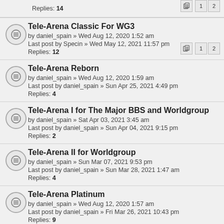Replies: 14
Tele-Arena Classic For WG3 by daniel_spain » Wed Aug 12, 2020 1:52 am Last post by Specin » Wed May 12, 2021 11:57 pm Replies: 12
Tele-Arena Reborn by daniel_spain » Wed Aug 12, 2020 1:59 am Last post by daniel_spain » Sun Apr 25, 2021 4:49 pm Replies: 4
Tele-Arena I for The Major BBS and Worldgroup by daniel_spain » Sat Apr 03, 2021 3:45 am Last post by daniel_spain » Sun Apr 04, 2021 9:15 pm Replies: 2
Tele-Arena II for Worldgroup by daniel_spain » Sun Mar 07, 2021 9:53 pm Last post by daniel_spain » Sun Mar 28, 2021 1:47 am Replies: 4
Tele-Arena Platinum by daniel_spain » Wed Aug 12, 2020 1:57 am Last post by daniel_spain » Fri Mar 26, 2021 10:43 pm Replies: 9